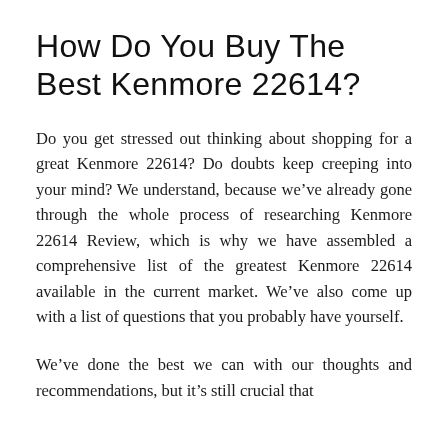How Do You Buy The Best Kenmore 22614?
Do you get stressed out thinking about shopping for a great Kenmore 22614? Do doubts keep creeping into your mind? We understand, because we've already gone through the whole process of researching Kenmore 22614 Review, which is why we have assembled a comprehensive list of the greatest Kenmore 22614 available in the current market. We've also come up with a list of questions that you probably have yourself.
We've done the best we can with our thoughts and recommendations, but it's still crucial that